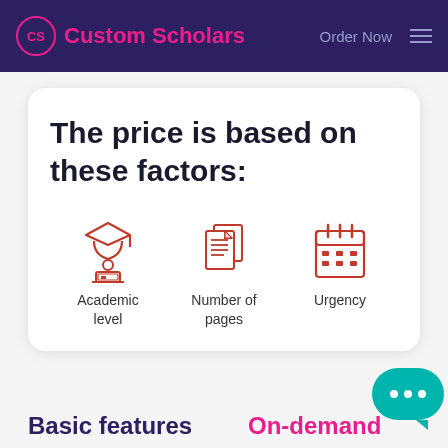Custom Scholars   Order Now
The price is based on these factors:
[Figure (infographic): Three red icons representing pricing factors: Academic level (student with graduation cap at laptop), Number of pages (stacked documents), and Urgency (calendar)]
Academic level
Number of pages
Urgency
Basic features
On-demand